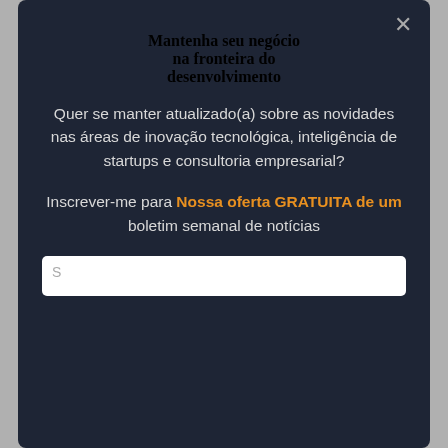Mantenha seu negócio na fronteira do desenvolvimento
Quer se manter atualizado(a) sobre as novidades nas áreas de inovação tecnológica, inteligência de startups e consultoria empresarial?
Inscrever-me para Nossa oferta GRATUITA de um boletim semanal de notícias